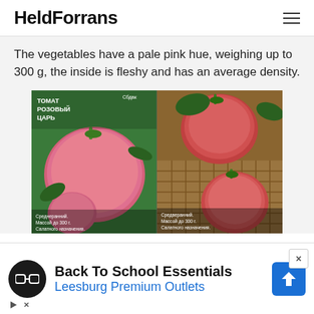HeldForrans
The vegetables have a pale pink hue, weighing up to 300 g, the inside is fleshy and has an average density.
[Figure (photo): Two seed packet images of pink tomatoes labeled 'Tomato Rozovy Tsar' in Russian, showing large pink/red tomatoes, with text in Russian about medium-ripening, weight up to 300g, salad purpose.]
Back To School Essentials
Leesburg Premium Outlets